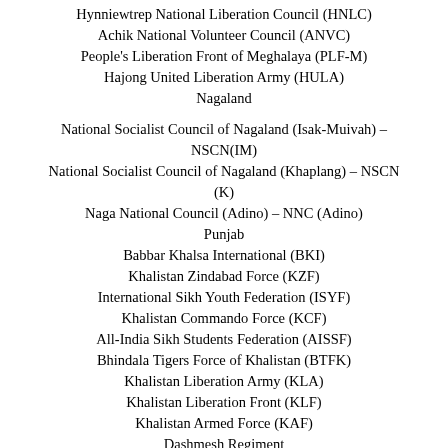Hynniewtrep National Liberation Council (HNLC)
Achik National Volunteer Council (ANVC)
People's Liberation Front of Meghalaya (PLF-M)
Hajong United Liberation Army (HULA)
Nagaland
National Socialist Council of Nagaland (Isak-Muivah) – NSCN(IM)
National Socialist Council of Nagaland (Khaplang) – NSCN (K)
Naga National Council (Adino) – NNC (Adino)
Punjab
Babbar Khalsa International (BKI)
Khalistan Zindabad Force (KZF)
International Sikh Youth Federation (ISYF)
Khalistan Commando Force (KCF)
All-India Sikh Students Federation (AISSF)
Bhindala Tigers Force of Khalistan (BTFK)
Khalistan Liberation Army (KLA)
Khalistan Liberation Front (KLF)
Khalistan Armed Force (KAF)
Dashmesh Regiment
Khalistan Liberation Organisation (KLO)
Khalistan National Army (KNA)